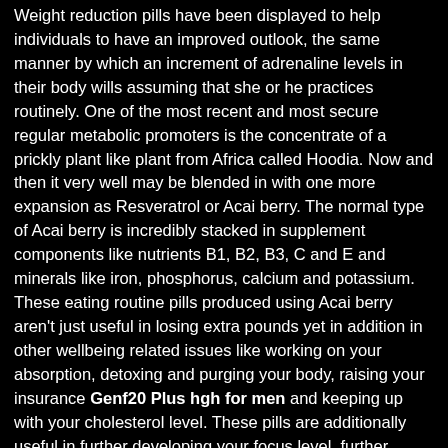Weight reduction pills have been displayed to help individuals to have an improved outlook, the same manner by which an increment of adrenaline levels in their body wills assuming that she or he practices routinely. One of the most recent and most secure regular metabolic promoters is the concentrate of a prickly plant like plant from Africa called Hoodia. Now and then it very well may be blended in with one more expansion as Resveratrol or Acai berry. The normal type of Acai berry is incredibly stacked in supplement components like nutrients B1, B2, B3, C and E and minerals like iron, phosphorus, calcium and potassium. These eating routine pills produced using Acai berry aren't just useful in losing extra pounds yet in addition in other wellbeing related issues like working on your absorption, detoxing and purging your body, raising your insurance Genf20 Plus hgh for men and keeping up with your cholesterol level. These pills are additionally useful in further developing your focus level, further developing your fortitude and soaring your energy levels. As per clinical investigates, Acai berry is likewise incredible in aiding against clogging, keeping up with vascular cardiovascular framework and further developing blood course.
Acai Berry works on the assimilation of your body, scrubs and